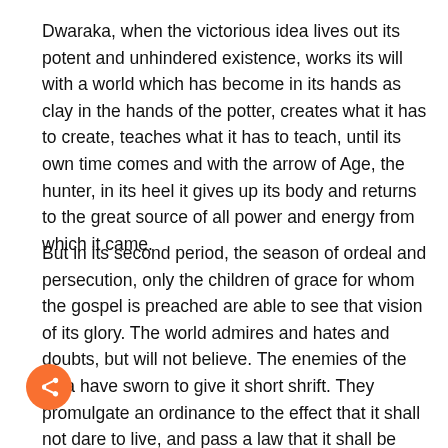Dwaraka, when the victorious idea lives out its potent and unhindered existence, works its will with a world which has become in its hands as clay in the hands of the potter, creates what it has to create, teaches what it has to teach, until its own time comes and with the arrow of Age, the hunter, in its heel it gives up its body and returns to the great source of all power and energy from which it came.
But in its second period, the season of ordeal and persecution, only the children of grace for whom the gospel is preached are able to see that vision of its glory. The world admires and hates and doubts, but will not believe. The enemies of the idea have sworn to give it short shrift. They promulgate an ordinance to the effect that it shall not dare to live, and pass a law that it shall be dumb on pain of imprisonment and death, and add a byelaw that whoever has power and authority in any part of the land shall seek out the born and the young children of the idea and put them to the sword.